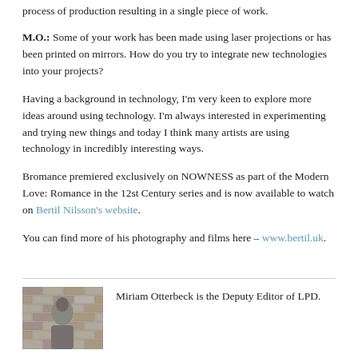process of production resulting in a single piece of work.
M.O.: Some of your work has been made using laser projections or has been printed on mirrors. How do you try to integrate new technologies into your projects?
Having a background in technology, I'm very keen to explore more ideas around using technology. I'm always interested in experimenting and trying new things and today I think many artists are using technology in incredibly interesting ways.
Bromance premiered exclusively on NOWNESS as part of the Modern Love: Romance in the 12st Century series and is now available to watch on Bertil Nilsson's website.
You can find more of his photography and films here – www.bertil.uk.
[Figure (photo): Black and white photo of a person in front of a brick wall]
Miriam Otterbeck is the Deputy Editor of LPD.